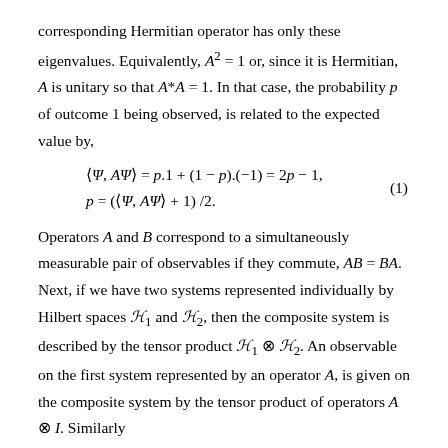corresponding Hermitian operator has only these eigenvalues. Equivalently, A² = 1 or, since it is Hermitian, A is unitary so that A*A = 1. In that case, the probability p of outcome 1 being observed, is related to the expected value by,
Operators A and B correspond to a simultaneously measurable pair of observables if they commute, AB = BA. Next, if we have two systems represented individually by Hilbert spaces H₁ and H₂, then the composite system is described by the tensor product H₁ ⊗ H₂. An observable on the first system represented by an operator A, is given on the composite system by the tensor product of operators A ⊗ I. Similarly